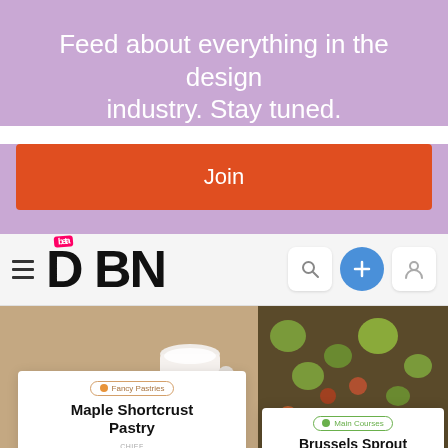Feed about everything in the design industry. Stay tuned.
Join
[Figure (screenshot): DBN app navigation bar with hamburger menu, DBN beta logo, search icon, plus button, and user icon]
[Figure (screenshot): Two recipe cards: 'Maple Shortcrust Pastry' by Chef Jean-Sébastien Potvin featuring Maple Sugar (1 portion), and 'Brussels Sprout Medley with Maple' by Jean-Sébastien Potvin, shown on food photography backgrounds]